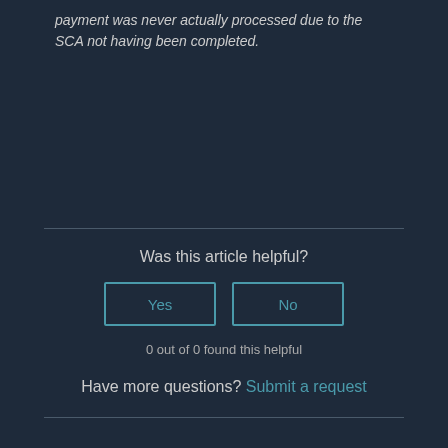payment was never actually processed due to the SCA not having been completed.
Was this article helpful?
Yes
No
0 out of 0 found this helpful
Have more questions? Submit a request